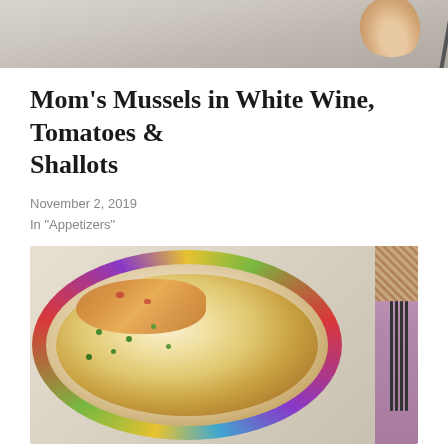[Figure (photo): Top portion of a food photo, showing a marble surface with someone holding a piece of bread, partially cropped at top of page]
Mom’s Mussels in White Wine, Tomatoes & Shallots
November 2, 2019
In “Appetizers”
[Figure (photo): Overhead view of a breakfast strata (egg casserole dish) served on a decorative floral-rimmed plate, with melted cheese and green onions on top, a fork visible on the right side on a purple napkin, and a wicker basket in the upper right corner]
The Day After Breakfast Strata